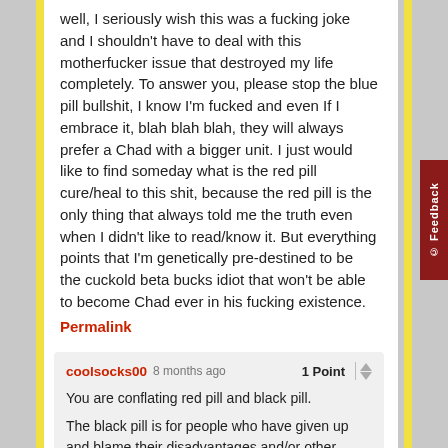well, I seriously wish this was a fucking joke and I shouldn't have to deal with this motherfucker issue that destroyed my life completely. To answer you, please stop the blue pill bullshit, I know I'm fucked and even If I embrace it, blah blah blah, they will always prefer a Chad with a bigger unit. I just would like to find someday what is the red pill cure/heal to this shit, because the red pill is the only thing that always told me the truth even when I didn't like to read/know it. But everything points that I'm genetically pre-destined to be the cuckold beta bucks idiot that won't be able to become Chad ever in his fucking existence.
Permalink
coolsocks00  8 months ago  1 Point
You are conflating red pill and black pill.

The black pill is for people who have given up and blame their disadvantages and/or other people